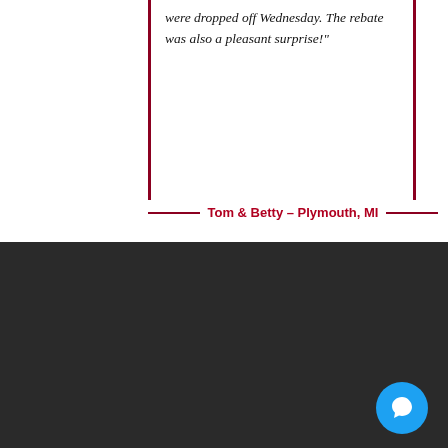were dropped off Wednesday. The rebate was also a pleasant surprise!"
Tom & Betty – Plymouth, MI
[Figure (screenshot): Chat widget popup with avatar showing 'Hi there, have a question? Text us here.' with close button, on a dark background. Also includes Best of Houzz 2020 SERVICE badge and a blue chat icon circle.]